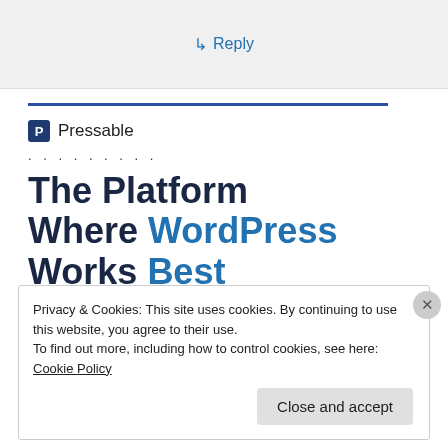↳ Reply
Pressable
. . . . . . . . .
The Platform Where WordPress Works Best
Privacy & Cookies: This site uses cookies. By continuing to use this website, you agree to their use.
To find out more, including how to control cookies, see here: Cookie Policy
Close and accept